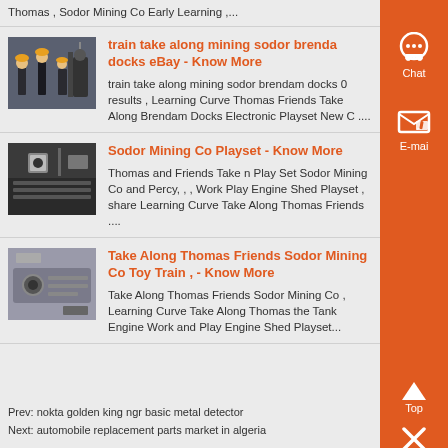Thomas , Sodor Mining Co Early Learning ,...
[Figure (photo): Workers/miners in industrial setting with equipment]
train take along mining sodor brenda docks eBay - Know More
train take along mining sodor brendam docks 0 results , Learning Curve Thomas Friends Take Along Brendam Docks Electronic Playset New C ....
[Figure (photo): Close-up of mechanical/electronic device component]
Sodor Mining Co Playset - Know More
Thomas and Friends Take n Play Set Sodor Mining Co and Percy, , , Work Play Engine Shed Playset , share Learning Curve Take Along Thomas Friends ....
[Figure (photo): Close-up of mechanical hardware/fastener component]
Take Along Thomas Friends Sodor Mining Co Toy Train , - Know More
Take Along Thomas Friends Sodor Mining Co , Learning Curve Take Along Thomas the Tank Engine Work and Play Engine Shed Playset...
Prev: nokta golden king ngr basic metal detector
Next: automobile replacement parts market in algeria